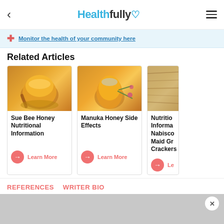Healthfully
Monitor the health of your community here
Related Articles
[Figure (photo): Jar of honey with honey dipper on burlap background]
Sue Bee Honey Nutritional Information
Learn More
[Figure (photo): Round jar of Manuka honey with tea tree flowers]
Manuka Honey Side Effects
Learn More
[Figure (photo): Wooden surface partially visible - third article card]
Nutritional Information Nabisco Maid Graham Crackers
Learn More
REFERENCES
WRITER BIO